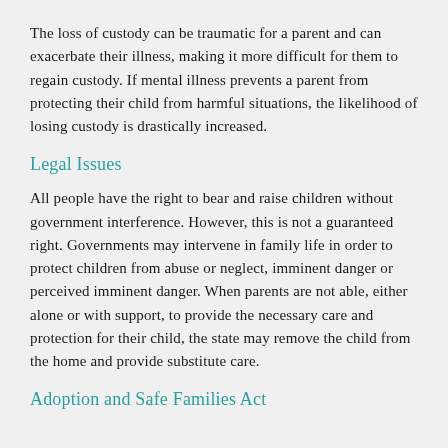The loss of custody can be traumatic for a parent and can exacerbate their illness, making it more difficult for them to regain custody. If mental illness prevents a parent from protecting their child from harmful situations, the likelihood of losing custody is drastically increased.
Legal Issues
All people have the right to bear and raise children without government interference. However, this is not a guaranteed right. Governments may intervene in family life in order to protect children from abuse or neglect, imminent danger or perceived imminent danger. When parents are not able, either alone or with support, to provide the necessary care and protection for their child, the state may remove the child from the home and provide substitute care.
Adoption and Safe Families Act